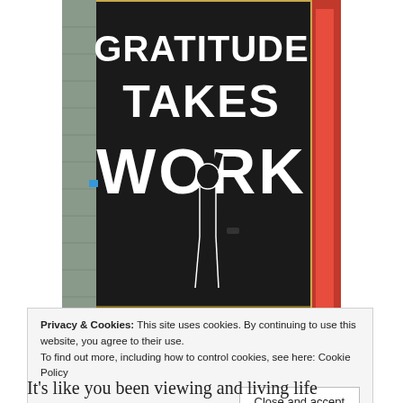[Figure (photo): Street art mural on a black background showing large white block letters reading 'GRATITUDE TAKES WORK' with a silhouette of a person painting or touching the letters. Signed '- Morley.' in white script in the lower right. The mural is mounted or leaning against a wall in an industrial setting with visible plywood edges and corrugated metal siding.]
Privacy & Cookies: This site uses cookies. By continuing to use this website, you agree to their use.
To find out more, including how to control cookies, see here: Cookie Policy
Close and accept
It’s like you been viewing and living life through a